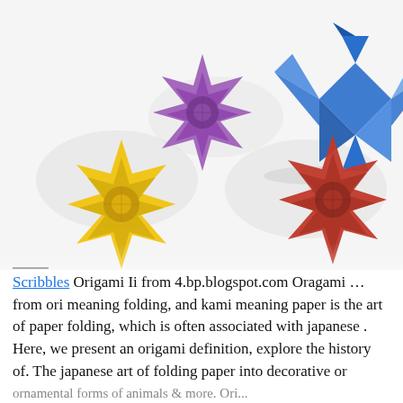[Figure (photo): Photo of four origami pieces on a white background: a purple star/flower shape (center-left), a blue paper crane (top-right), a yellow star/flower shape (bottom-left), and a red star/flower shape (bottom-right).]
Scribbles Origami Ii from 4.bp.blogspot.com Oragami …from ori meaning folding, and kami meaning paper is the art of paper folding, which is often associated with japanese . Here, we present an origami definition, explore the history of. The japanese art of folding paper into decorative or ornamental forms of animals & more. Ori...